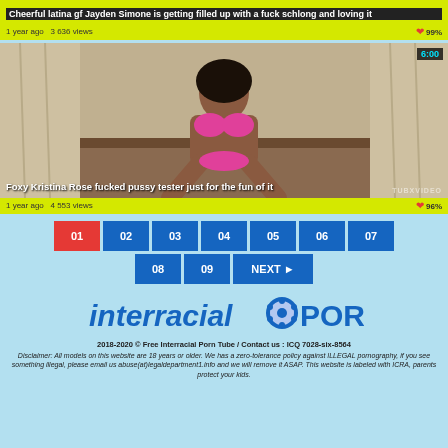Cheerful latina gf Jayden Simone is getting filled up with a fuck schlong and loving it
1 year ago  3 636 views   99%
[Figure (photo): Video thumbnail - woman in pink bikini]
Foxy Kristina Rose fucked pussy tester just for the fun of it
1 year ago  4 553 views   96%
01 02 03 04 05 06 07 08 09 NEXT
[Figure (logo): interracialPORN logo]
2018-2020 © Free Interracial Porn Tube / Contact us : ICQ 7028-six-8564
Disclaimer: All models on this website are 18 years or older. We has a zero-tolerance policy against ILLEGAL pornography, if you see something illegal, please email us abuse(at)legaldepartment1.info and we will remove it ASAP. This website is labeled with ICRA, parents protect your kids.